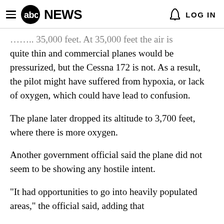abc NEWS   LOG IN
quite thin and commercial planes would be pressurized, but the Cessna 172 is not. As a result, the pilot might have suffered from hypoxia, or lack of oxygen, which could have lead to confusion.
The plane later dropped its altitude to 3,700 feet, where there is more oxygen.
Another government official said the plane did not seem to be showing any hostile intent.
"It had opportunities to go into heavily populated areas," the official said, adding that